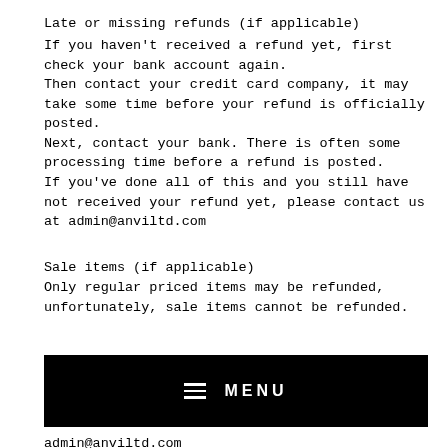Late or missing refunds (if applicable)
If you haven't received a refund yet, first check your bank account again.
Then contact your credit card company, it may take some time before your refund is officially posted.
Next, contact your bank. There is often some processing time before a refund is posted.
If you've done all of this and you still have not received your refund yet, please contact us at admin@anviltd.com
Sale items (if applicable)
Only regular priced items may be refunded, unfortunately, sale items cannot be refunded.
[Figure (other): Black navigation bar with hamburger menu icon and MENU text in white]
admin@anviltd.com